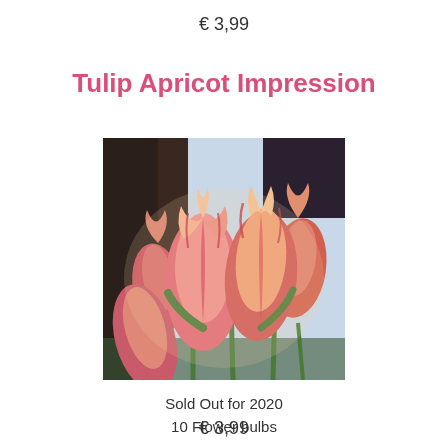€ 3,99
Tulip Apricot Impression
[Figure (photo): Close-up photograph of Tulip Apricot Impression flowers — large pink, apricot and orange tulips with red streaks, photographed from below against a blue sky and dark tree background.]
Sold Out for 2020
10 Flower bulbs
€ 3,99